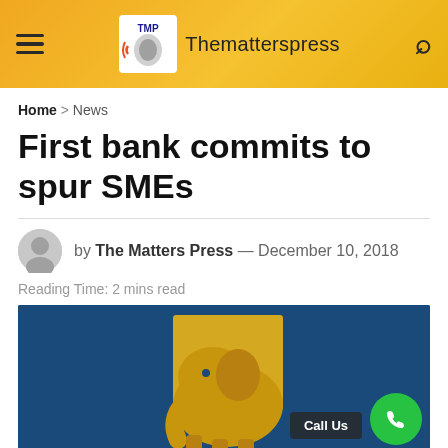Thematterspress
Home > News
First bank commits to spur SMEs
by The Matters Press — December 10, 2018
Reading Time: 2 mins read
[Figure (photo): First Bank logo illustration on dark blue background with golden elephant graphic]